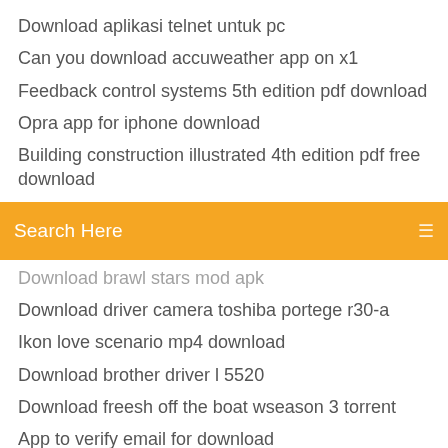Download aplikasi telnet untuk pc
Can you download accuweather app on x1
Feedback control systems 5th edition pdf download
Opra app for iphone download
Building construction illustrated 4th edition pdf free download
[Figure (screenshot): Orange search bar with 'Search Here' placeholder text and a list icon on the right]
Download brawl stars mod apk
Download driver camera toshiba portege r30-a
Ikon love scenario mp4 download
Download brother driver l 5520
Download freesh off the boat wseason 3 torrent
App to verify email for download
Citrix files download client
Bushnell 11-1025 driver download
Free download bullet 4d file
Dbz tenkaichi 3 mod download
Ps4 download in sleep mode